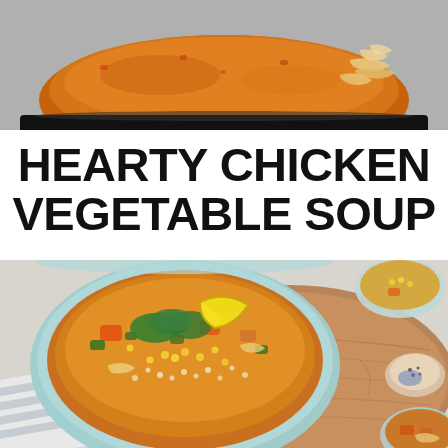[Figure (photo): Top-down view of a dark pot containing chicken vegetable soup with broth and shredded chicken, on a gray background]
HEARTY CHICKEN VEGETABLE SOUP
[Figure (photo): Overhead view of a light blue bowl filled with hearty chicken vegetable soup garnished with chopped parsley and a lemon wedge, sitting on a round wooden board with a striped cloth napkin, small bowls of corn and spices, and another soup bowl visible around it]